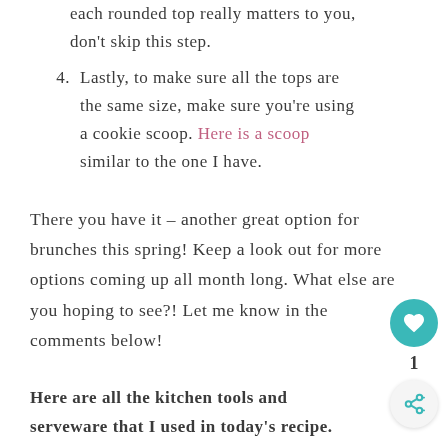each rounded top really matters to you, don't skip this step.
4. Lastly, to make sure all the tops are the same size, make sure you're using a cookie scoop. Here is a scoop similar to the one I have.
There you have it – another great option for brunches this spring! Keep a look out for more options coming up all month long. What else are you hoping to see?! Let me know in the comments below!
Here are all the kitchen tools and serveware that I used in today's recipe. For each item sold below, I make a small commission. I only recommend items that I own and love